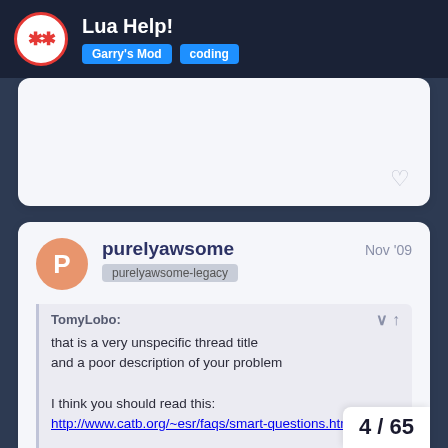Lua Help! | Garry's Mod | coding
TomyLobo:
that is a very unspecific thread title and a poor description of your problem

I think you should read this:
http://www.catb.org/~esr/faqs/smart-questions.html

the code of your swep IS your swep
purelyawsome  Nov '09  purelyawsome-legacy
HERE Is What It Says On My Lua File: